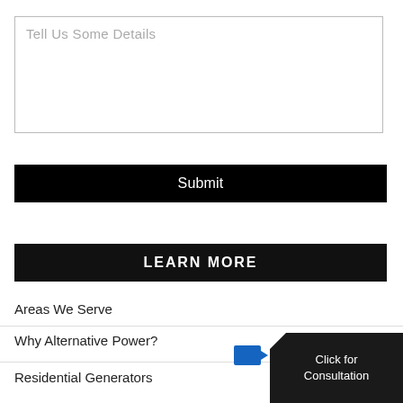Tell Us Some Details
Submit
LEARN MORE
Areas We Serve
Why Alternative Power?
Residential Generators
Click for Consultation